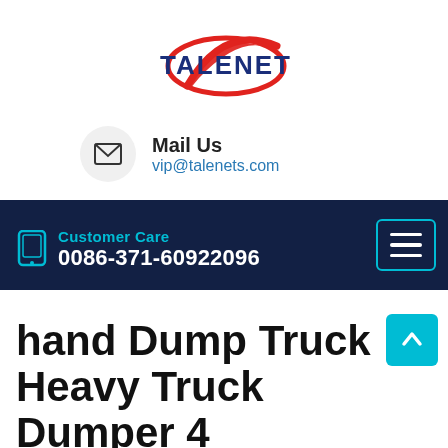[Figure (logo): TALENET company logo with red swoosh arc and dark blue bold text]
Mail Us
vip@talenets.com
[Figure (infographic): Dark navy navigation bar with hamburger menu icon (cyan border), phone icon (cyan), Customer Care label (cyan), and phone number 0086-371-60922096 in white]
hand Dump Truck Heavy Truck Dumper 4